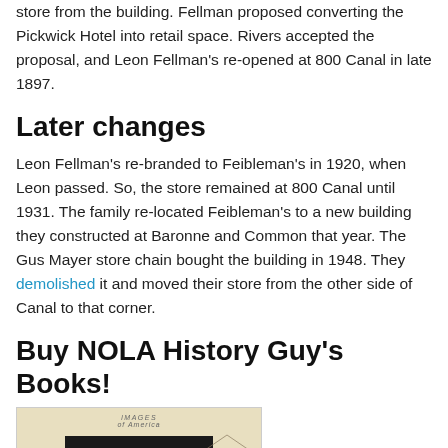store from the building. Fellman proposed converting the Pickwick Hotel into retail space. Rivers accepted the proposal, and Leon Fellman's re-opened at 800 Canal in late 1897.
Later changes
Leon Fellman's re-branded to Feibleman's in 1920, when Leon passed. So, the store remained at 800 Canal until 1931. The family re-located Feibleman's to a new building they constructed at Baronne and Common that year. The Gus Mayer store chain bought the building in 1948. They demolished it and moved their store from the other side of Canal to that corner.
Buy NOLA History Guy's Books!
[Figure (photo): Book cover for 'New Orleans: The Canal Streetcar Line' from the Images of America series, showing the book title on a black shield-shaped emblem over a sepia-toned background with a building sketch on the right.]